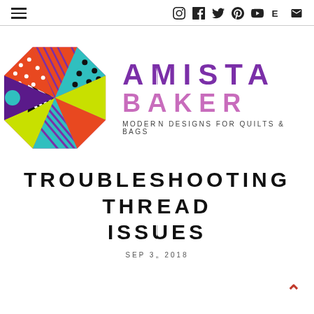Navigation header with hamburger menu and social icons: Instagram, Facebook, Twitter, Pinterest, YouTube, Etsy, Email
[Figure (logo): Amista Baker brand logo: colorful geometric quilt-pattern octagon with teal, yellow-green, orange, magenta, purple, and black-and-white patchwork triangles, with text 'AMISTA BAKER – MODERN DESIGNS FOR QUILTS & BAGS']
TROUBLESHOOTING THREAD ISSUES
SEP 3, 2018